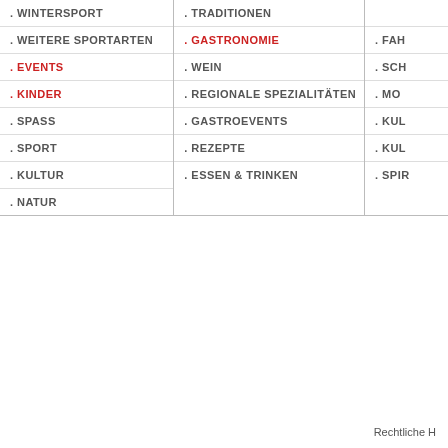. WINTERSPORT
. WEITERE SPORTARTEN
. EVENTS
. KINDER
. SPASS
. SPORT
. KULTUR
. NATUR
. TRADITIONEN
. GASTRONOMIE
. WEIN
. REGIONALE SPEZIALITÄTEN
. GASTROEVENTS
. REZEPTE
. ESSEN & TRINKEN
. FAH...
. SCH...
. MO...
. KUL...
. KUL...
. SPIR...
Rechtliche H